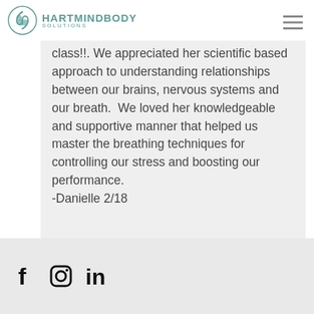HARTMINDBODY SOLUTIONS
class!!. We appreciated her scientific based approach to understanding relationships between our brains, nervous systems and our breath.  We loved her knowledgeable and supportive manner that helped us master the breathing techniques for controlling our stress and boosting our performance.
-Danielle 2/18
Social media links: Facebook, Instagram, LinkedIn